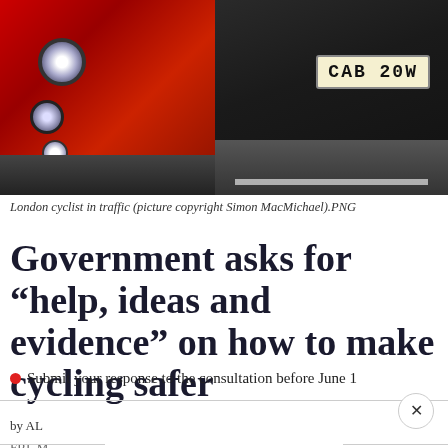[Figure (photo): London cyclist in traffic — front view of a red vehicle on the left and a dark black car with UK license plate 'CAB 20W' on the right, photographed on a road]
London cyclist in traffic (picture copyright Simon MacMichael).PNG
Government asks for “help, ideas and evidence” on how to make cycling safer
Submit your response to the consultation before June 1
by AL
FRI, M